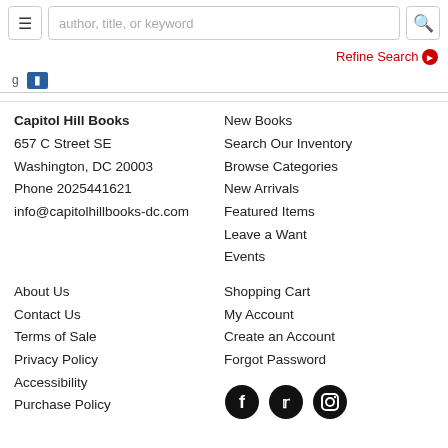author, title, or keyword — search bar with menu and search icon
Refine Search
Capitol Hill Books
657 C Street SE
Washington, DC 20003
Phone 2025441621
info@capitolhillbooks-dc.com
New Books
Search Our Inventory
Browse Categories
New Arrivals
Featured Items
Leave a Want
Events
About Us
Contact Us
Terms of Sale
Privacy Policy
Accessibility
Purchase Policy
Shopping Cart
My Account
Create an Account
Forgot Password
[Figure (illustration): Social media icons: Facebook, Twitter, Instagram]